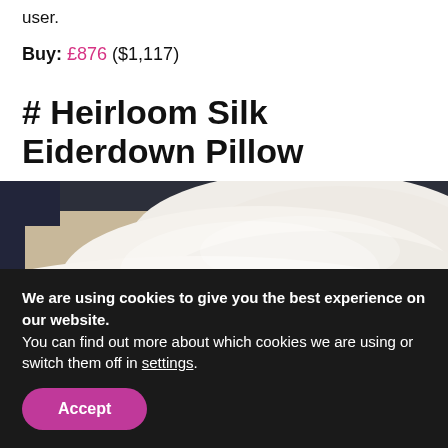user.
Buy: £876 ($1,117)
# Heirloom Silk Eiderdown Pillow
[Figure (photo): Close-up photo of white silk pillows against a dark navy headboard]
We are using cookies to give you the best experience on our website.
You can find out more about which cookies we are using or switch them off in settings.
Accept